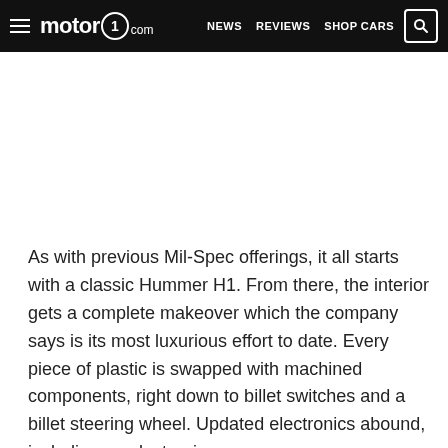motor1.com — NEWS  REVIEWS  SHOP CARS
[Figure (other): Advertisement or image placeholder area (white/blank)]
As with previous Mil-Spec offerings, it all starts with a classic Hummer H1. From there, the interior gets a complete makeover which the company says is its most luxurious effort to date. Every piece of plastic is swapped with machined components, right down to billet switches and a billet steering wheel. Updated electronics abound, including an electronic gear